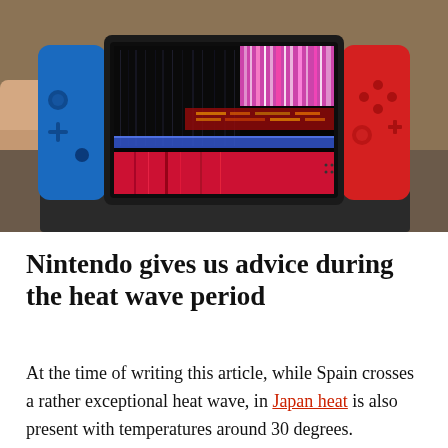[Figure (photo): A Nintendo Switch handheld gaming console being held by a person, with the screen displaying glitched/corrupted visuals featuring pink, red, white and blue horizontal and vertical distortion lines on a black background. Blue Joy-Con on left, red Joy-Con on right.]
Nintendo gives us advice during the heat wave period
At the time of writing this article, while Spain crosses a rather exceptional heat wave, in Japan heat is also present with temperatures around 30 degrees. Therefore,